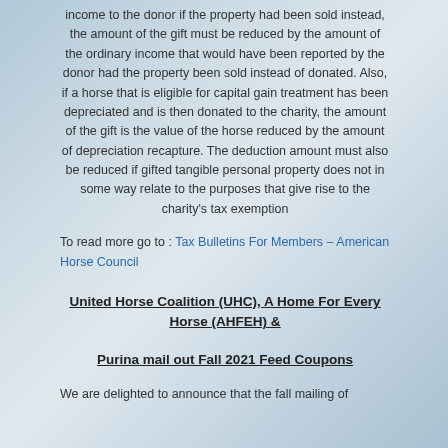income to the donor if the property had been sold instead, the amount of the gift must be reduced by the amount of the ordinary income that would have been reported by the donor had the property been sold instead of donated. Also, if a horse that is eligible for capital gain treatment has been depreciated and is then donated to the charity, the amount of the gift is the value of the horse reduced by the amount of depreciation recapture. The deduction amount must also be reduced if gifted tangible personal property does not in some way relate to the purposes that give rise to the charity's tax exemption
To read more go to : Tax Bulletins For Members – American Horse Council
United Horse Coalition (UHC), A Home For Every Horse (AHFEH) &
Purina mail out Fall 2021 Feed Coupons
We are delighted to announce that the fall mailing of